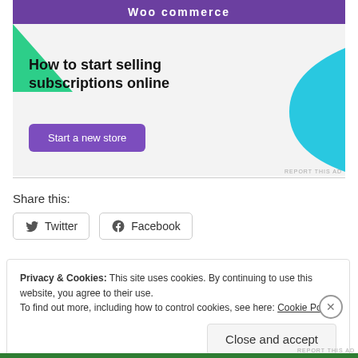[Figure (screenshot): WooCommerce advertisement banner: 'How to start selling subscriptions online' with a 'Start a new store' purple button, green triangle and blue shape decorations on a light grey background.]
Share this:
Twitter
Facebook
Privacy & Cookies: This site uses cookies. By continuing to use this website, you agree to their use.
To find out more, including how to control cookies, see here: Cookie Policy
Close and accept